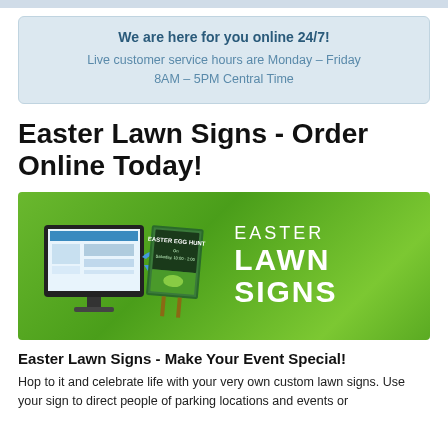We are here for you online 24/7!
Live customer service hours are Monday – Friday 8AM – 5PM Central Time
Easter Lawn Signs - Order Online Today!
[Figure (illustration): Green banner advertisement for Easter Lawn Signs showing a computer monitor with a design tool and an Easter Egg Hunt lawn sign with a rabbit, and large white text reading EASTER LAWN SIGNS on the right side]
Easter Lawn Signs - Make Your Event Special!
Hop to it and celebrate life with your very own custom lawn signs. Use your sign to direct people of parking locations and events or